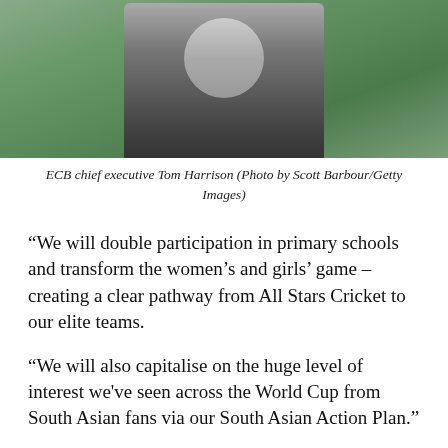[Figure (photo): ECB chief executive Tom Harrison standing outdoors, wearing a dark blazer, with a green grass/cricket ground background.]
ECB chief executive Tom Harrison (Photo by Scott Barbour/Getty Images)
“We will double participation in primary schools and transform the women’s and girls’ game – creating a clear pathway from All Stars Cricket to our elite teams.
“We will also capitalise on the huge level of interest we’ve seen across the World Cup from South Asian fans via our South Asian Action Plan.”
Former England star Monty Panesar was in the crowd at Lord’s in north London